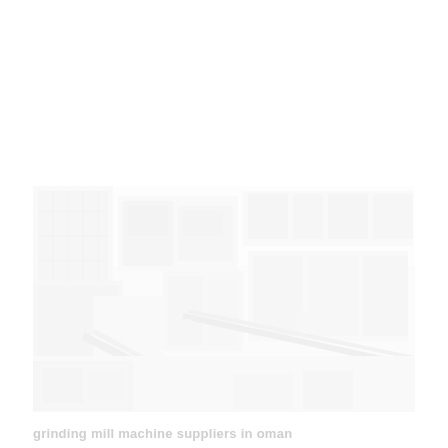[Figure (photo): A very faded/washed-out photograph of an industrial grinding mill machine facility, showing large mechanical equipment, machinery components, and industrial structures in an outdoor or semi-outdoor setting.]
grinding mill machine suppliers in oman